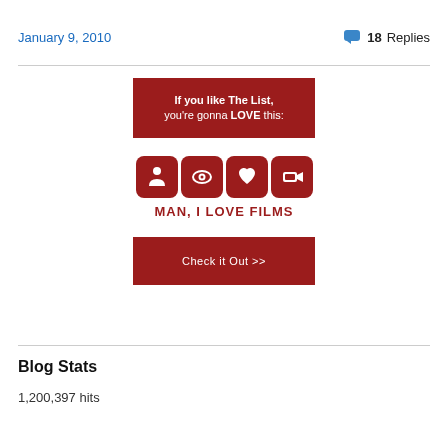January 9, 2010
18 Replies
[Figure (infographic): Red banner ad: 'If you like The List, you're gonna LOVE this:' followed by Man I Love Films logo with four red rounded-square icons (person, eye, heart, projector) and text 'MAN, I LOVE FILMS', then a red 'Check it Out >>' button.]
Blog Stats
1,200,397 hits